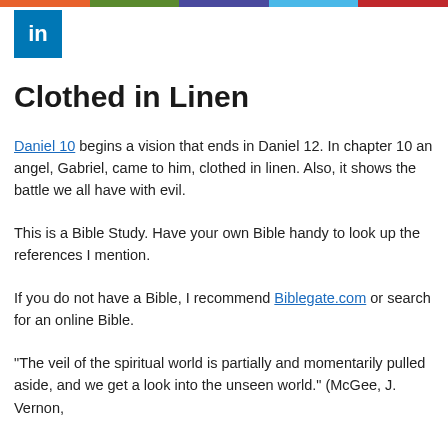[Figure (logo): LinkedIn logo - blue square with white 'in' text]
Clothed in Linen
Daniel 10 begins a vision that ends in Daniel 12. In chapter 10 an angel, Gabriel, came to him, clothed in linen. Also, it shows the battle we all have with evil.
This is a Bible Study. Have your own Bible handy to look up the references I mention.
If you do not have a Bible, I recommend Biblegate.com or search for an online Bible.
“The veil of the spiritual world is partially and momentarily pulled aside, and we get a look into the unseen world.” (McGee, J. Vernon,